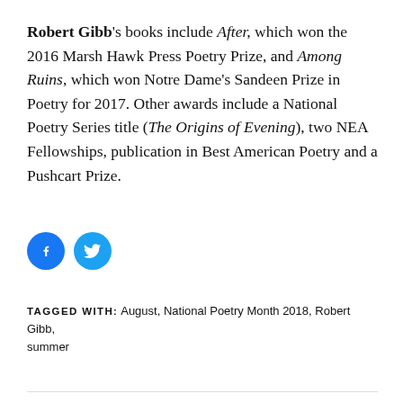Robert Gibb's books include After, which won the 2016 Marsh Hawk Press Poetry Prize, and Among Ruins, which won Notre Dame's Sandeen Prize in Poetry for 2017. Other awards include a National Poetry Series title (The Origins of Evening), two NEA Fellowships, publication in Best American Poetry and a Pushcart Prize.
[Figure (illustration): Two circular social media icon buttons: Facebook (blue circle with 'f' icon) and Twitter (light blue circle with bird icon)]
TAGGED WITH: August, National Poetry Month 2018, Robert Gibb, summer